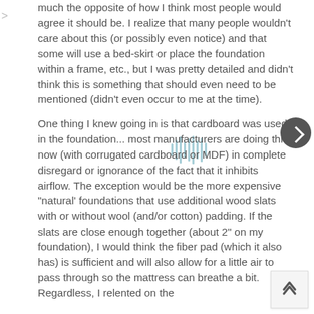much the opposite of how I think most people would agree it should be. I realize that many people wouldn't care about this (or possibly even notice) and that some will use a bed-skirt or place the foundation within a frame, etc., but I was pretty detailed and didn't think this is something that should even need to be mentioned (didn't even occur to me at the time).
One thing I knew going in is that cardboard was used in the foundation... most manufacturers are doing this now (with corrugated cardboard or MDF) in complete disregard or ignorance of the fact that it inhibits airflow. The exception would be the more expensive "natural' foundations that use additional wood slats with or without wool (and/or cotton) padding. If the slats are close enough together (about 2" on my foundation), I would think the fiber pad (which it also has) is sufficient and will also allow for a little air to pass through so the mattress can breathe a bit. Regardless, I relented on the